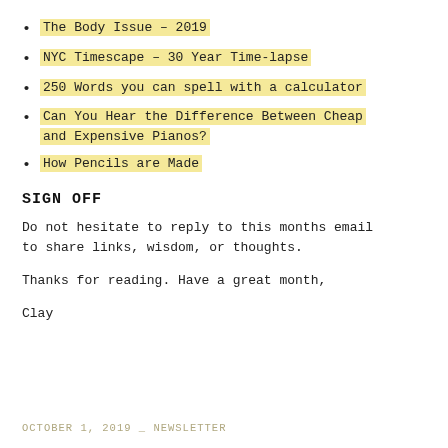The Body Issue – 2019
NYC Timescape – 30 Year Time-lapse
250 Words you can spell with a calculator
Can You Hear the Difference Between Cheap and Expensive Pianos?
How Pencils are Made
SIGN OFF
Do not hesitate to reply to this months email to share links, wisdom, or thoughts.
Thanks for reading. Have a great month,
Clay
OCTOBER 1, 2019 _ NEWSLETTER